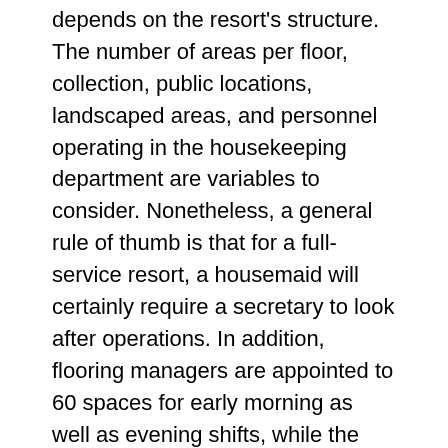depends on the resort's structure. The number of areas per floor, collection, public locations, landscaped areas, and personnel operating in the housekeeping department are variables to consider. Nonetheless, a general rule of thumb is that for a full-service resort, a housemaid will certainly require a secretary to look after operations. In addition, flooring managers are appointed to 60 spaces for early morning as well as evening shifts, while the variety of supervisors per night shift varies. A green thumb may also be needed, depending upon the hotel's dimension.
Another crucial job of a housekeeper is defrosting a fridge and also cleansing countertops in the hotel. The housekeeping staff is in charge of